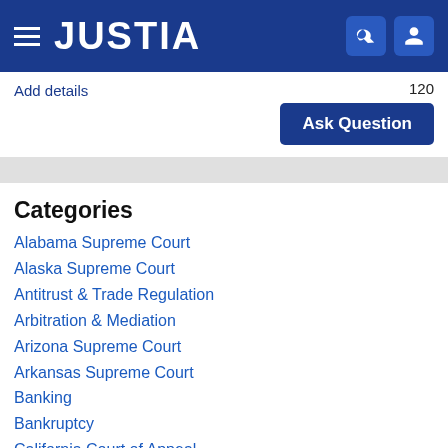JUSTIA
Add details
120
Ask Question
Categories
Alabama Supreme Court
Alaska Supreme Court
Antitrust & Trade Regulation
Arbitration & Mediation
Arizona Supreme Court
Arkansas Supreme Court
Banking
Bankruptcy
California Court of Appeal
California Courts of Appeal
California Supreme Court
Civil Procedure